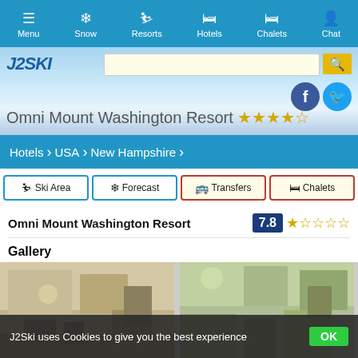Menu | Snow | Resorts | Hotels | Chalets | Chat
[Figure (screenshot): J2Ski logo and search bar with mountain/snow hero image background]
Omni Mount Washington Resort ★★★★
Hotels > USA > New Hampshire
Ski Area | Forecast | Transfers | Chalets
Omni Mount Washington Resort  7.8 ☆☆☆☆
Gallery
[Figure (photo): Two hotel room interior photos side by side showing warm-toned living/bedroom spaces]
J2Ski uses Cookies to give you the best experience  OK